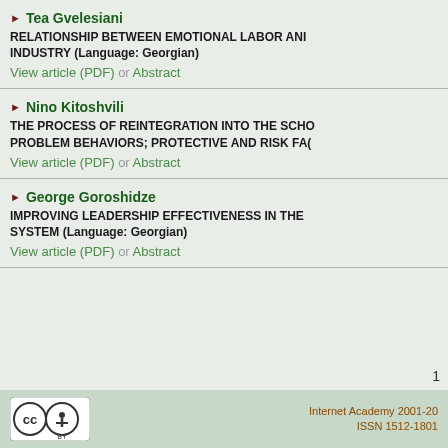Tea Gvelesiani — RELATIONSHIP BETWEEN EMOTIONAL LABOR AND... INDUSTRY (Language: Georgian) — View article (PDF) or Abstract
Nino Kitoshvili — THE PROCESS OF REINTEGRATION INTO THE SCHO... PROBLEM BEHAVIORS; PROTECTIVE AND RISK FA... — View article (PDF) or Abstract
George Goroshidze — IMPROVING LEADERSHIP EFFECTIVENESS IN THE... SYSTEM (Language: Georgian) — View article (PDF) or Abstract
1
Internet Academy 2001-20... ISSN 1512-1801